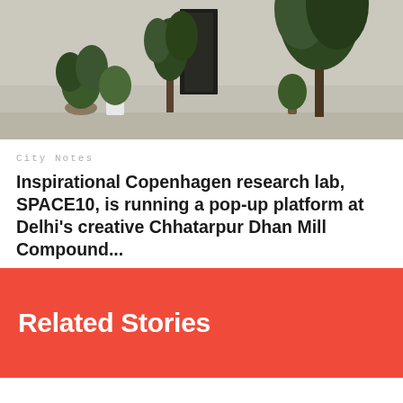[Figure (photo): Outdoor courtyard or entrance area with plants, trees, and a dark doorway against a light-colored wall]
City Notes
Inspirational Copenhagen research lab, SPACE10, is running a pop-up platform at Delhi's creative Chhatarpur Dhan Mill Compound...
Related Stories
[Figure (infographic): Advertisement banner: person in yellow shirt with text 'Actions speak louder than words.' and a brand logo with close button]